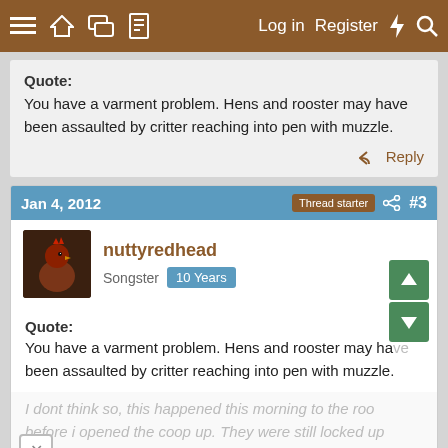≡ 🏠 💬 📄   Log in   Register  ⚡ 🔍
Quote:
You have a varment problem. Hens and rooster may have been assaulted by critter reaching into pen with muzzle.
↩ Reply
Jan 4, 2012   Thread starter  #3
nuttyredhead
Songster  10 Years
Quote:
You have a varment problem. Hens and rooster may have been assaulted by critter reaching into pen with muzzle.
I dont think so, this happened this morning to the roo before i opened the coop up. They were still locked up inside.